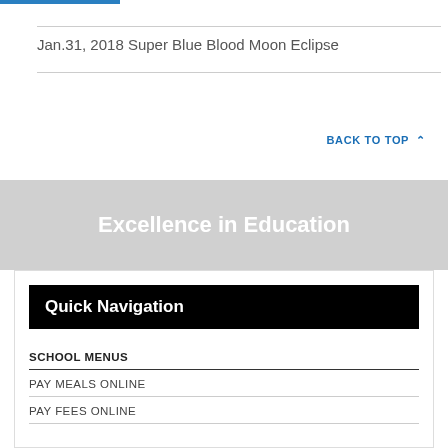Jan.31, 2018 Super Blue Blood Moon Eclipse
BACK TO TOP ∧
Excellence in Education
Quick Navigation
SCHOOL MENUS
PAY MEALS ONLINE
PAY FEES ONLINE